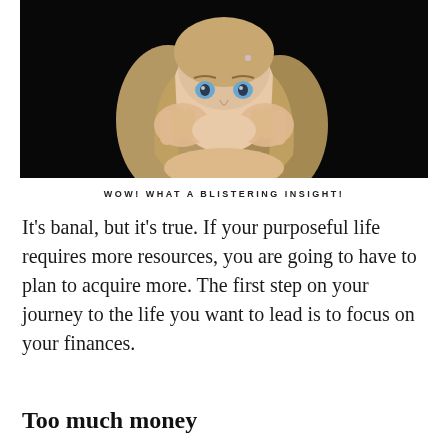[Figure (photo): A young girl with blonde hair resting her face on her hands, looking upward with a wistful expression, against a black background.]
WOW! WHAT A BLISTERING INSIGHT!
It’s banal, but it’s true. If your purposeful life requires more resources, you are going to have to plan to acquire more. The first step on your journey to the life you want to lead is to focus on your finances.
Too much money